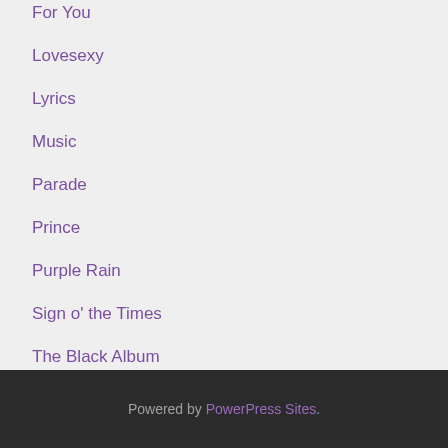For You
Lovesexy
Lyrics
Music
Parade
Prince
Purple Rain
Sign o' the Times
The Black Album
Track By Track
Uncategorized
Powered by PowerPress Sites.